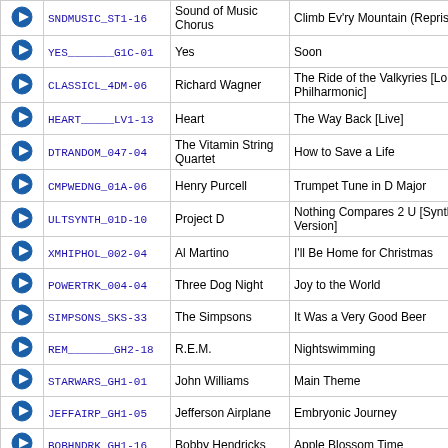|  | ID | Artist | Title |
| --- | --- | --- | --- |
| ▶ | SNDMUSIC_ST1-16 | Sound of Music Chorus | Climb Ev'ry Mountain (Reprise) |
| ▶ | YES_______G1C-01 | Yes | Soon |
| ▶ | CLASSICL_4DM-06 | Richard Wagner | The Ride of the Valkyries [London Philharmonic] |
| ▶ | HEART_____LV1-13 | Heart | The Way Back [Live] |
| ▶ | DTRANDOM_047-04 | The Vitamin String Quartet | How to Save a Life |
| ▶ | CMPWEDNG_01A-06 | Henry Purcell | Trumpet Tune in D Major |
| ▶ | ULTSYNTH_01D-10 | Project D | Nothing Compares 2 U [Synth Version] |
| ▶ | XMHIPHOL_002-04 | Al Martino | I'll Be Home for Christmas |
| ▶ | POWERTRK_004-04 | Three Dog Night | Joy to the World |
| ▶ | SIMPSONS_SKS-33 | The Simpsons | It Was a Very Good Beer |
| ▶ | REM_______GH2-18 | R.E.M. | Nightswimming |
| ▶ | STARWARS_GH1-01 | John Williams | Main Theme |
| ▶ | JEFFAIRP_GH1-05 | Jefferson Airplane | Embryonic Journey |
| ▶ | BOBHNDRK_GH1-16 | Bobby Hendricks | Apple Blossom Time |
| ▶ | AVALNPOP_BAL-06 | Avalon Pops Orchestra | Solitude |
| ▶ | POWERTRK_029-19 | Richard Wagner | Bridal Chorus (Traditional Processional) |
| ▶ | SNDMUSIC_ST1-13 | Sound of Music Nuns Chorus | Processional And Maria |
| ▶ | DTRANDOM_027-06 | Maurice Jarre | Lara's Theme (Doctor Zhivago) |
| ▶ | CMPWEDNG_01A-07 | Marc Antoine Charpentier | Te Deum |